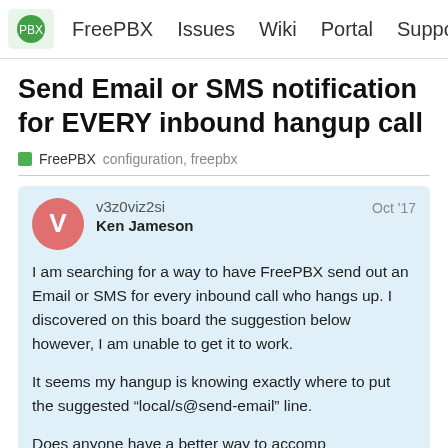FreePBX | Issues | Wiki | Portal | Support | Regi...
Send Email or SMS notification for EVERY inbound hangup call
FreePBX   configuration, freepbx
v3z0viz2si
Ken Jameson
Oct '17
I am searching for a way to have FreePBX send out an Email or SMS for every inbound call who hangs up. I discovered on this board the suggestion below however, I am unable to get it to work.

It seems my hangup is knowing exactly where to put the suggested “local/s@send-email” line.

Does anyone have a better way to accomplish this task?
1 / 7